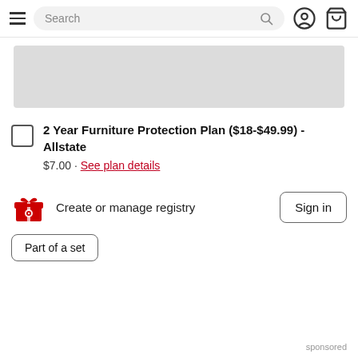[Figure (screenshot): Navigation bar with hamburger menu, search box, user icon, and cart icon]
[Figure (photo): Gray product image placeholder]
2 Year Furniture Protection Plan ($18-$49.99) - Allstate
$7.00 · See plan details
Create or manage registry
Part of a set
sponsored